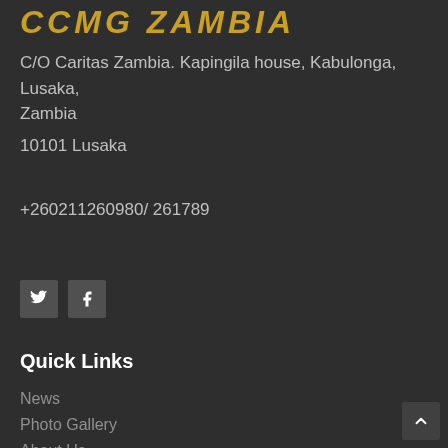CCMG ZAMBIA
C/O Caritas Zambia. Kapingila house, Kabulonga, Lusaka, Zambia
10101 Lusaka
+260211260980/ 261789
[Figure (other): Twitter and Facebook social media icon buttons]
Quick Links
News
Photo Gallery
About Us